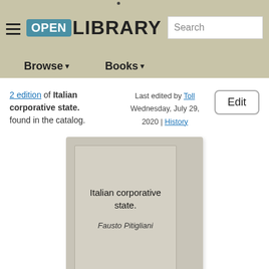[Figure (screenshot): Open Library website header with hamburger menu, Open Library logo, and Search box]
Browse ▾
Books ▾
2 edition of Italian corporative state. found in the catalog.
Last edited by Toll
Wednesday, July 29, 2020 | History
Edit
[Figure (illustration): Book cover placeholder for Italian corporative state. by Fausto Pitigliani, shown as a grey placeholder cover with title and author text]